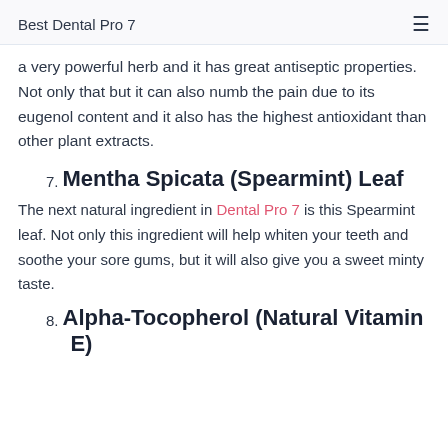Best Dental Pro 7
a very powerful herb and it has great antiseptic properties. Not only that but it can also numb the pain due to its eugenol content and it also has the highest antioxidant than other plant extracts.
7. Mentha Spicata (Spearmint) Leaf
The next natural ingredient in Dental Pro 7 is this Spearmint leaf. Not only this ingredient will help whiten your teeth and soothe your sore gums, but it will also give you a sweet minty taste.
8. Alpha-Tocopherol (Natural Vitamin E)